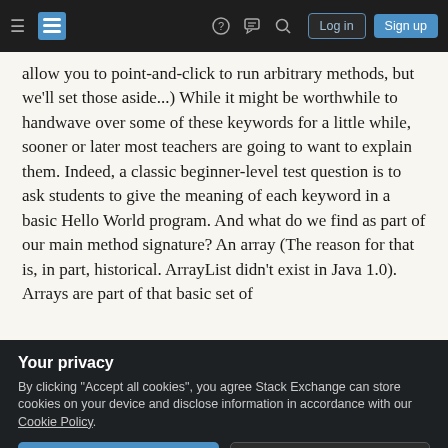Stack Exchange navigation bar with hamburger menu, logo, help, chat, search icons, Log in and Sign up buttons
allow you to point-and-click to run arbitrary methods, but we'll set those aside...) While it might be worthwhile to handwave over some of these keywords for a little while, sooner or later most teachers are going to want to explain them. Indeed, a classic beginner-level test question is to ask students to give the meaning of each keyword in a basic Hello World program. And what do we find as part of our main method signature? An array (The reason for that is, in part, historical. ArrayList didn't exist in Java 1.0). Arrays are part of that basic set of
Your privacy
By clicking "Accept all cookies", you agree Stack Exchange can store cookies on your device and disclose information in accordance with our Cookie Policy.
for Java includes ArrayList (I know it used to, and